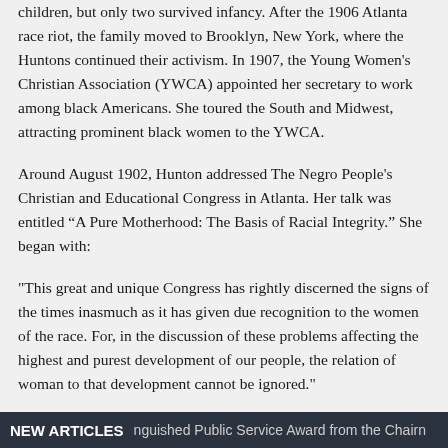children, but only two survived infancy. After the 1906 Atlanta race riot, the family moved to Brooklyn, New York, where the Huntons continued their activism. In 1907, the Young Women's Christian Association (YWCA) appointed her secretary to work among black Americans. She toured the South and Midwest, attracting prominent black women to the YWCA.
Around August 1902, Hunton addressed The Negro People's Christian and Educational Congress in Atlanta. Her talk was entitled “A Pure Motherhood: The Basis of Racial Integrity.” She began with:
"This great and unique Congress has rightly discerned the signs of the times inasmuch as it has given due recognition to the women of the race. For, in the discussion of these problems affecting the highest and purest development of our people, the relation of woman to that development cannot be ignored."
NEW ARTICLES  nguished Public Service Award from the Chairn